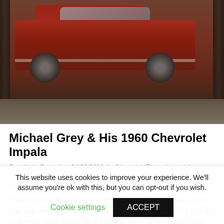[Figure (photo): A red 1960 Chevrolet Impala on a hydraulic lift inside a garage or showroom. The car is viewed from a slight angle showing the side and front, with lift posts visible on both sides and a concrete floor below.]
Michael Grey & His 1960 Chevrolet Impala
By admin  Posted on 04/09/2019  In Chevrolet  Tagged car clubs, career goals, chevrolet, classic car, custom build, hydraulic system, Impala, zenith wire wheels
I haven't tried to be anybody that I'm not. People look at me and say, what's a white guy doing with low riders? You just got to be you, work really hard and you have to figure out what you really want out of life and what you want, and just go for it. It'll happen. You know, you may
This website uses cookies to improve your experience. We'll assume you're ok with this, but you can opt-out if you wish.
Cookie settings   ACCEPT